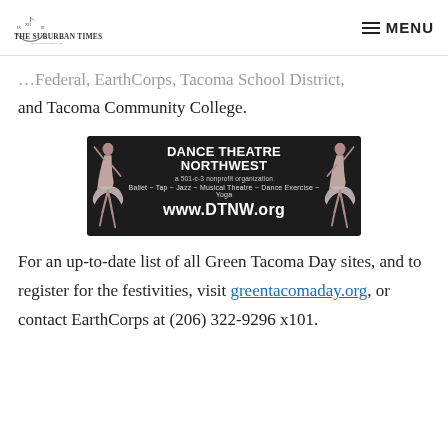The Suburban Times | MENU
…Federal, EarthCorps, Tacoma School District, and Tacoma Community College.
[Figure (illustration): Advertisement for Dance Theatre Northwest, a 501-c-3 nonprofit organization. Dark background with two ballet dancer figures on left and right sides. Text: DANCE THEATRE NORTHWEST, a 501-c-3 nonprofit organization, Ballet ~ Tap ~ Jazz ~ Musical Theatre ~ Dance Exercise ~ Yoga, www.DTNW.org]
For an up-to-date list of all Green Tacoma Day sites, and to register for the festivities, visit greentacomaday.org, or contact EarthCorps at (206) 322-9296 x101.